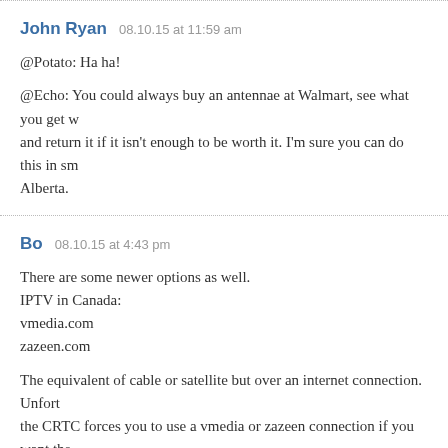John Ryan  08.10.15 at 11:59 am
@Potato: Ha ha!

@Echo: You could always buy an antennae at Walmart, see what you get with it and return it if it isn't enough to be worth it. I'm sure you can do this in small-town Alberta.
Bo  08.10.15 at 4:43 pm
There are some newer options as well.
IPTV in Canada:
vmedia.com
zazeen.com

The equivalent of cable or satellite but over an internet connection. Unfortunately the CRTC forces you to use a vmedia or zazeen connection if you want the channels. You can't stay with your existing internet service provider and just get TV